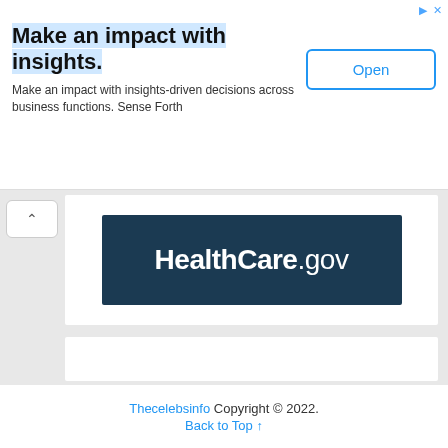[Figure (screenshot): Advertisement banner: 'Make an impact with insights.' with blue highlighted title, description text 'Make an impact with insights-driven decisions across business functions. Sense Forth', and an 'Open' button on the right.]
[Figure (logo): HealthCare.gov logo on dark teal/navy background]
[Figure (screenshot): Partially visible white card below HealthCare.gov logo]
[Figure (screenshot): Dark/black section area]
Thecelebsinfo Copyright © 2022.
Back to Top ↑